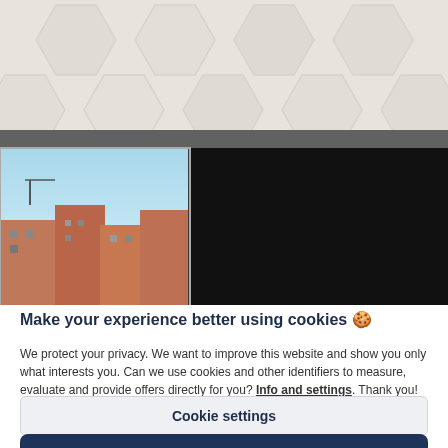[Figure (screenshot): Website screenshot showing a hexagonal tile background pattern at top, a browser window with a photo of buildings on the left and dark area on the right]
Make your experience better using cookies 🍪
We protect your privacy. We want to improve this website and show you only what interests you. Can we use cookies and other identifiers to measure, evaluate and provide offers directly for you? Info and settings. Thank you! ♥
Cookie settings
Accept all and close